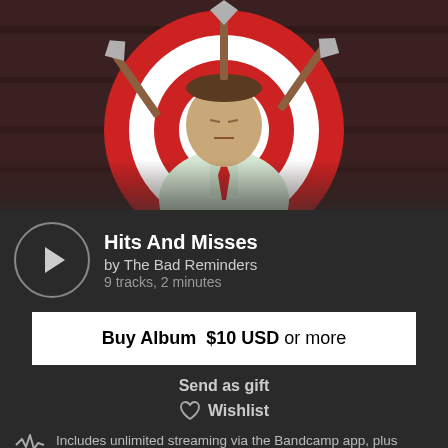[Figure (illustration): Album cover art showing an illustrated man in a white shirt and red tie, with axes/hatchets embedded in a circular target behind him, dark background]
Hits And Misses
by The Bad Reminders
9 tracks, 2 minutes
Buy Album  $10 USD or more
Send as gift
Wishlist
Includes unlimited streaming via the Bandcamp app, plus download in mp3, FLAC and more
Your money reaches the artist quickly and fairly